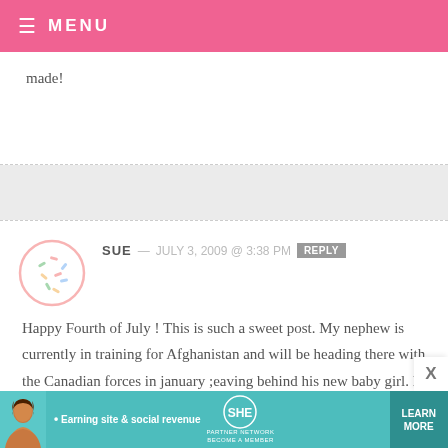≡ MENU
made!
SUE — JULY 3, 2009 @ 3:38 PM  REPLY
Happy Fourth of July ! This is such a sweet post. My nephew is currently in training for Afghanistan and will be heading there with the Canadian forces in january ;eaving behind his new baby girl. It is so hard to think about...but I am going to start thinking
[Figure (illustration): Circular avatar placeholder with sprinkle/donut illustration, pink outline]
• Earning site & social revenue  SHE PARTNER NETWORK BECOME A MEMBER  LEARN MORE